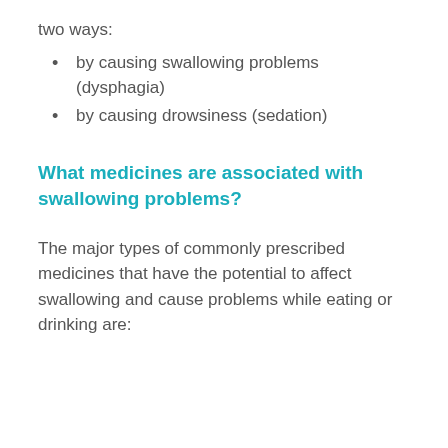two ways:
by causing swallowing problems (dysphagia)
by causing drowsiness (sedation)
What medicines are associated with swallowing problems?
The major types of commonly prescribed medicines that have the potential to affect swallowing and cause problems while eating or drinking are: